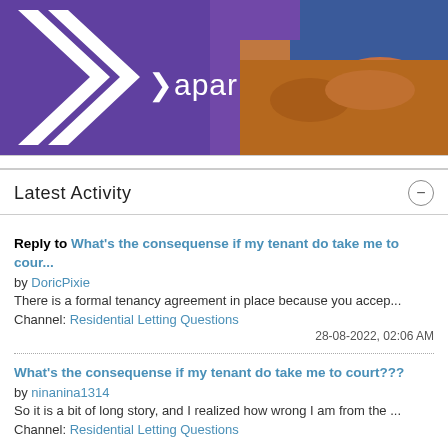[Figure (photo): Apari brand banner with purple background, white chevron arrow logo on left, 'apari' text in white, and a person with arms crossed visible on the right side]
Latest Activity
Reply to What's the consequense if my tenant do take me to cour...
by DoricPixie
There is a formal tenancy agreement in place because you accep...
Channel: Residential Letting Questions
28-08-2022, 02:06 AM
What's the consequense if my tenant do take me to court???
by ninanina1314
So it is a bit of long story, and I realized how wrong I am from the ...
Channel: Residential Letting Questions